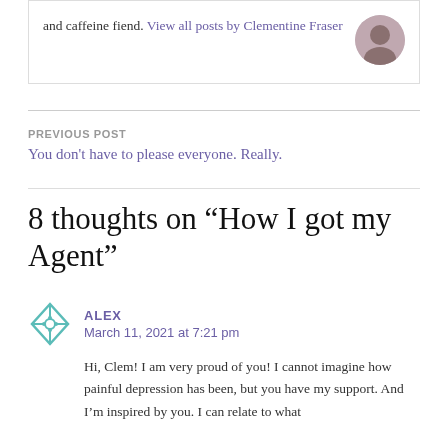and caffeine fiend. View all posts by Clementine Fraser
PREVIOUS POST
You don't have to please everyone. Really.
8 thoughts on “How I got my Agent”
ALEX
March 11, 2021 at 7:21 pm
Hi, Clem! I am very proud of you! I cannot imagine how painful depression has been, but you have my support. And I’m inspired by you. I can relate to what